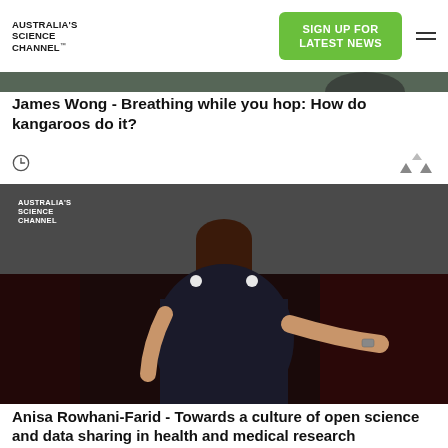AUSTRALIA'S SCIENCE CHANNEL™
[Figure (other): Green 'Sign up for latest news' button in navigation bar]
[Figure (photo): Partial cropped photo of person on stage (top portion visible)]
James Wong - Breathing while you hop: How do kangaroos do it?
[Figure (photo): Photo of Anisa Rowhani-Farid speaking on stage at Australia's Science Channel event, woman in dark dress gesturing with hand]
Anisa Rowhani-Farid - Towards a culture of open science and data sharing in health and medical research